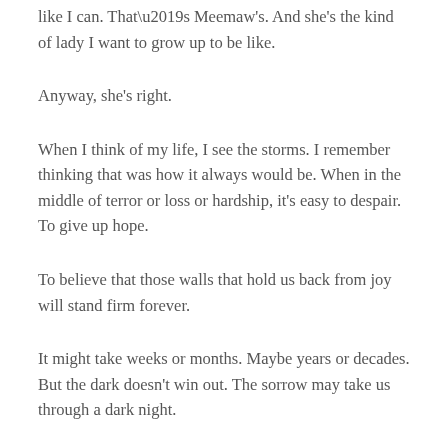like I can. That’s Meemaw’s. And she’s the kind of lady I want to grow up to be like.
Anyway, she’s right.
When I think of my life, I see the storms. I remember thinking that was how it always would be. When in the middle of terror or loss or hardship, it’s easy to despair. To give up hope.
To believe that those walls that hold us back from joy will stand firm forever.
It might take weeks or months. Maybe years or decades. But the dark doesn’t win out. The sorrow may take us through a dark night.
But…
Walls crumble under sledgehammers.